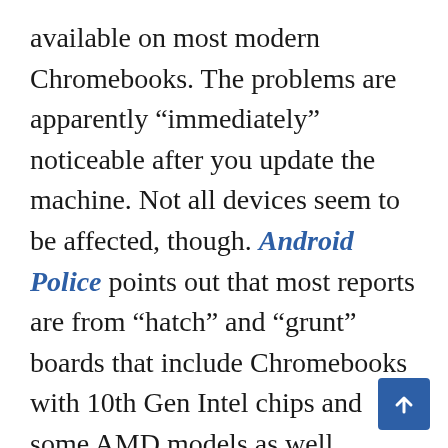available on most modern Chromebooks. The problems are apparently “immediately” noticeable after you update the machine. Not all devices seem to be affected, though. Android Police points out that most reports are from “hatch” and “grunt” boards that include Chromebooks with 10th Gen Intel chips and some AMD models as well.

If you’re not already on Chrome OS 91, you may want to hold off on updating until Google has fixed or at least acknowledged these performance issues. If you are already affected, switching to the Beta channel temporarily